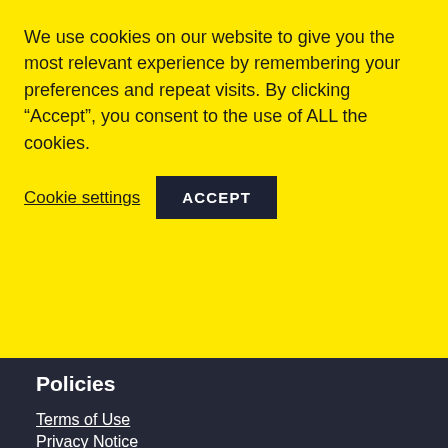We use cookies on our website to give you the most relevant experience by remembering your preferences and repeat visits. By clicking “Accept”, you consent to the use of ALL the cookies.
Cookie settings
ACCEPT
Policies
Terms of Use
Privacy Notice
Anti-Bribery Policy
Volunteer Privacy Policy
Charity
Cancer Card is a Scottish Charity, SC051187, regulated by the Scottish Charity Regulator